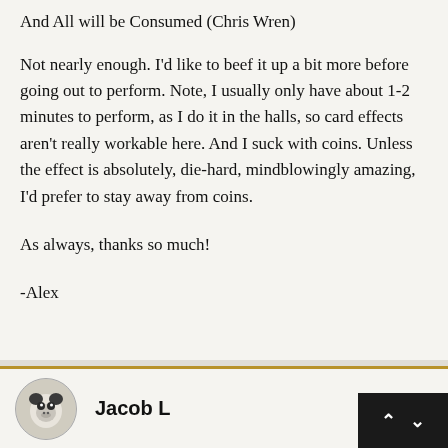And All will be Consumed (Chris Wren)
Not nearly enough. I'd like to beef it up a bit more before going out to perform. Note, I usually only have about 1-2 minutes to perform, as I do it in the halls, so card effects aren't really workable here. And I suck with coins. Unless the effect is absolutely, die-hard, mindblowingly amazing, I'd prefer to stay away from coins.
As always, thanks so much!
-Alex
Jacob L